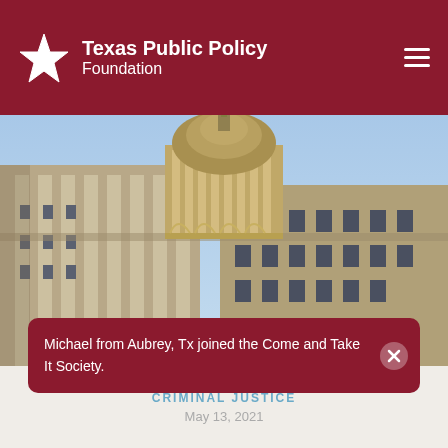Texas Public Policy Foundation
[Figure (photo): Low-angle view of the Texas State Capitol building dome and facade against a blue sky]
Michael from Aubrey, Tx joined the Come and Take It Society.
CRIMINAL JUSTICE
May 13, 2021